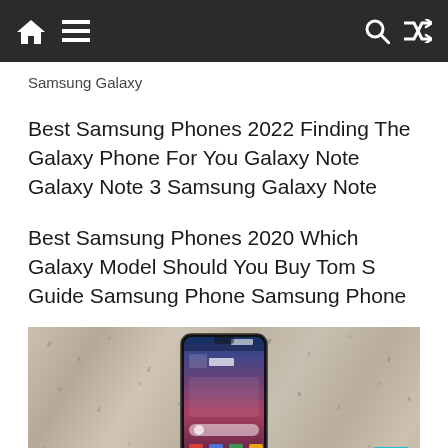Navigation bar with home, menu, search, and shuffle icons
Samsung Galaxy
Best Samsung Phones 2022 Finding The Galaxy Phone For You Galaxy Note Galaxy Note 3 Samsung Galaxy Note
Best Samsung Phones 2020 Which Galaxy Model Should You Buy Tom S Guide Samsung Phone Samsung Phone
[Figure (photo): Samsung Galaxy smartphone displayed against a granite stone background, showing weather app with 37 degrees and home screen icons]